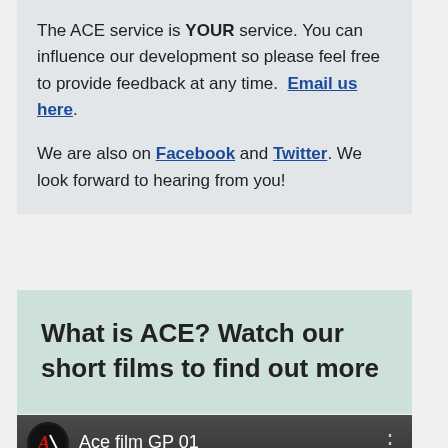The ACE service is YOUR service. You can influence our development so please feel free to provide feedback at any time. Email us here.
We are also on Facebook and Twitter. We look forward to hearing from you!
What is ACE? Watch our short films to find out more
[Figure (screenshot): Video thumbnail showing ACE film GP 01 with ACE logo and three-dot menu icon]